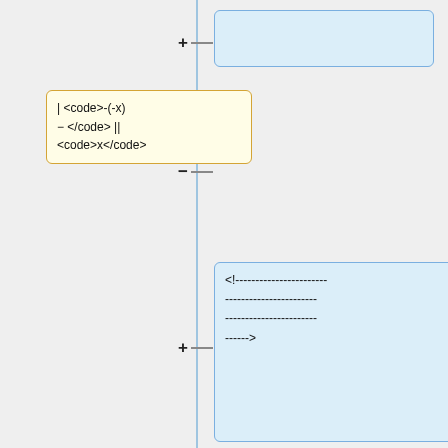[Figure (flowchart): A flowchart/diff diagram showing a vertical blue line as the central axis, with yellow boxes on the left representing removed content and blue boxes on the right representing added content. Each pair is connected by horizontal lines with + or - symbols. Content includes code snippets and HTML-like markup for table row and cell constructs.]